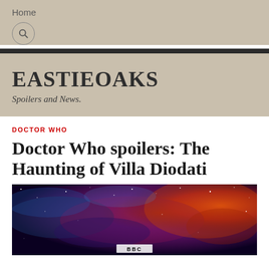Home
EASTIEOAKS
Spoilers and News.
DOCTOR WHO
Doctor Who spoilers: The Haunting of Villa Diodati
[Figure (photo): Space nebula image with dark blue, purple, red and orange cosmic clouds and stars, with BBC logo visible at bottom center]